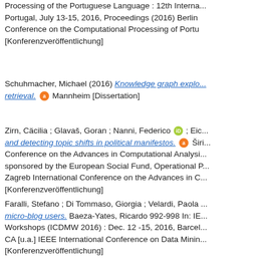Processing of the Portuguese Language : 12th International Conference, Portugal, July 13-15, 2016, Proceedings (2016) Berlin Conference on the Computational Processing of Portuguese [Konferenzveröffentlichung]
Schuhmacher, Michael (2016) Knowledge graph exploration for information retrieval. Mannheim [Dissertation]
Zirn, Cäcilia ; Glavaš, Goran ; Nanni, Federico [ORCID] ; Eic... and detecting topic shifts in political manifestos. [OA] Širi... Conference on the Advances in Computational Analysis sponsored by the European Social Fund, Operational P... Zagreb International Conference on the Advances in C... [Konferenzveröffentlichung]
Faralli, Stefano ; Di Tommaso, Giorgia ; Velardi, Paola ... micro-blog users. Baeza-Yates, Ricardo 992-998 In: IE... Workshops (ICDMW 2016) : Dec. 12 -15, 2016, Barcelona CA [u.a.] IEEE International Conference on Data Mining... [Konferenzveröffentlichung]
2015
Ponzetto, Simone Paolo [ORCID] ; Wessler, Hartmut [ORCID] ; W... Wolfgang ; Stuckenschmidt, Heiner [ORCID] Automatic class... multimodal model : an interdisciplinary project. Wildfeu... ...